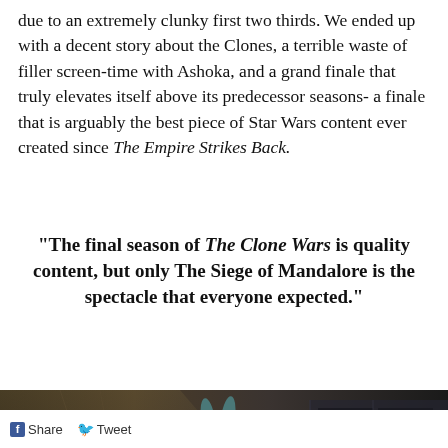due to an extremely clunky first two thirds. We ended up with a decent story about the Clones, a terrible waste of filler screen-time with Ashoka, and a grand finale that truly elevates itself above its predecessor seasons- a finale that is arguably the best piece of Star Wars content ever created since The Empire Strikes Back.
“The final season of The Clone Wars is quality content, but only The Siege of Mandalore is the spectacle that everyone expected.”
[Figure (photo): Animated scene from The Clone Wars showing Ahsoka Tano and a Clone Trooper standing side by side in a dimly lit hangar or corridor.]
Share  Tweet